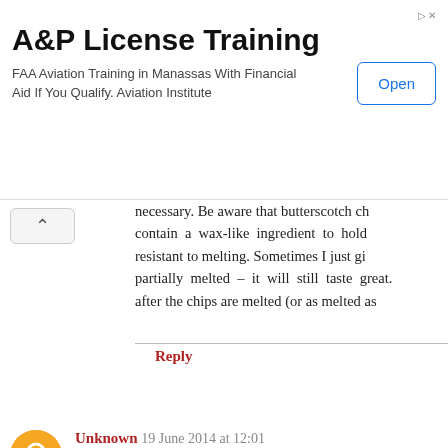[Figure (other): Advertisement banner for A&P License Training. Title: 'A&P License Training'. Description: 'FAA Aviation Training in Manassas With Financial Aid If You Qualify. Aviation Institute'. Button: 'Open'.]
necessary. Be aware that butterscotch ch contain a wax-like ingredient to hold resistant to melting. Sometimes I just gi partially melted – it will still taste great. after the chips are melted (or as melted as
Reply
Unknown 19 June 2014 at 12:01
I tried to make these today. Once I added the pea hard. What did I do wrong? I finished making th
Reply
Replies